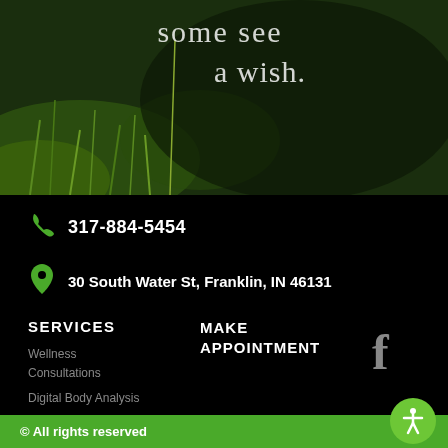[Figure (photo): Blurry outdoor nature photo with grass and dark background, handwritten-style text reading 'some see a wish']
317-884-5454
30 South Water St, Franklin, IN 46131
SERVICES
MAKE APPOINTMENT
Wellness Consultations
Digital Body Analysis
© All rights reserved